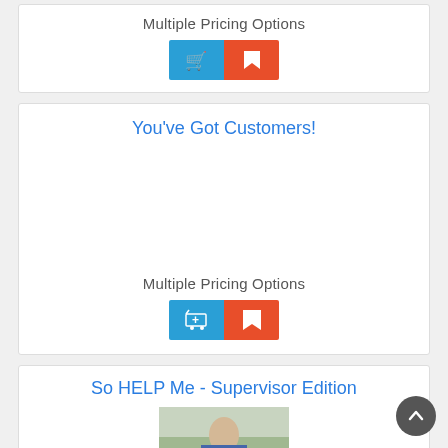Multiple Pricing Options
[Figure (illustration): Two buttons side by side: a teal/blue cart icon button and an orange-red bookmark icon button]
You've Got Customers!
Multiple Pricing Options
[Figure (illustration): Two buttons side by side: a teal/blue cart icon button and an orange-red bookmark icon button]
So HELP Me - Supervisor Edition
[Figure (photo): Photo of a person in an office or store environment]